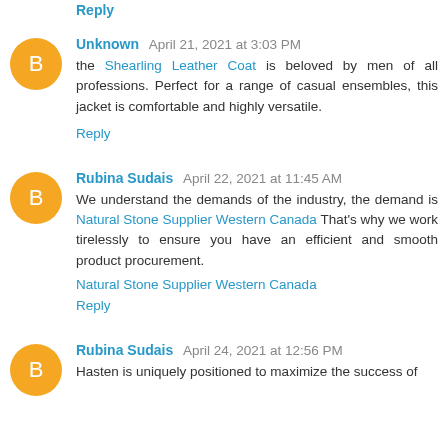Reply
Unknown  April 21, 2021 at 3:03 PM
the Shearling Leather Coat is beloved by men of all professions. Perfect for a range of casual ensembles, this jacket is comfortable and highly versatile.
Reply
Rubina Sudais  April 22, 2021 at 11:45 AM
We understand the demands of the industry, the demand is Natural Stone Supplier Western Canada That's why we work tirelessly to ensure you have an efficient and smooth product procurement.
Natural Stone Supplier Western Canada
Reply
Rubina Sudais  April 24, 2021 at 12:56 PM
Hasten is uniquely positioned to maximize the success of